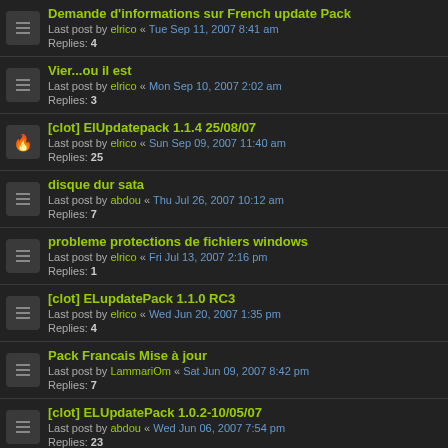Demande d'informations sur French update Pack
Last post by elrico « Tue Sep 11, 2007 8:41 am
Replies: 4
Vier...ou il est
Last post by elrico « Mon Sep 10, 2007 2:02 am
Replies: 3
[clot] ElUpdatepack 1.1.4 25/08/07
Last post by elrico « Sun Sep 09, 2007 11:40 am
Replies: 25
disque dur sata
Last post by abdou « Thu Jul 26, 2007 10:12 am
Replies: 7
probleme protections de fichiers windows
Last post by elrico « Fri Jul 13, 2007 2:16 pm
Replies: 1
[clot] ELupdatePack 1.1.0 RC3
Last post by elrico « Wed Jun 20, 2007 1:35 pm
Replies: 4
Pack Francais Mise à jour
Last post by LammariOm « Sat Jun 09, 2007 8:42 pm
Replies: 7
[clot] ELUpdatePack 1.0.2-10/05/07
Last post by abdou « Wed Jun 06, 2007 7:54 pm
Replies: 23
81 topics  1  2  >
Locked  Sort  Jump to